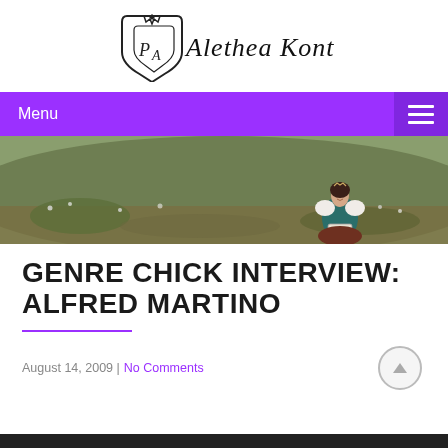PA Alethea Kontis
Menu
[Figure (photo): Wide banner photo of a woman in a teal corset and white off-shoulder blouse sitting in a meadow, reading a book.]
GENRE CHICK INTERVIEW: ALFRED MARTINO
August 14, 2009 | No Comments